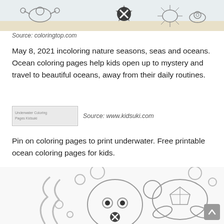[Figure (illustration): Coloring page banner showing underwater sea creatures including a crab, starfish, sea urchin, and snail along the ocean floor, with a prohibited/error icon overlay (circle with X).]
Source: coloringtop.com
May 8, 2021 incoloring nature seasons, seas and oceans. Ocean coloring pages help kids open up to mystery and travel to beautiful oceans, away from their daily routines.
[Figure (illustration): Thumbnail placeholder image labeled 'Underwater Coloring Pages Kidsuki']
Source: www.kidsuki.com
Pin on coloring pages to print underwater. Free printable ocean coloring pages for kids.
[Figure (illustration): Coloring page featuring a cute octopus and sea turtle underwater with bubbles, drawn in black and white outline style for kids to color.]